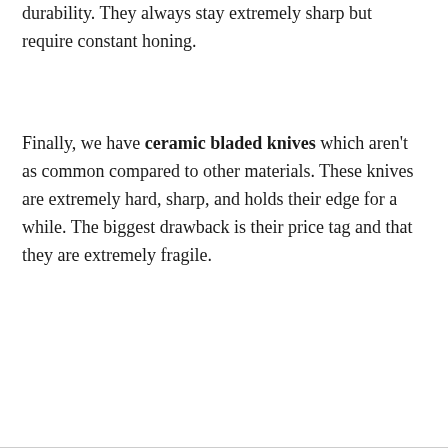durability. They always stay extremely sharp but require constant honing.
Finally, we have ceramic bladed knives which aren't as common compared to other materials. These knives are extremely hard, sharp, and holds their edge for a while. The biggest drawback is their price tag and that they are extremely fragile.
[Figure (other): Embedded video player with black background and a small play badge in the upper right corner]